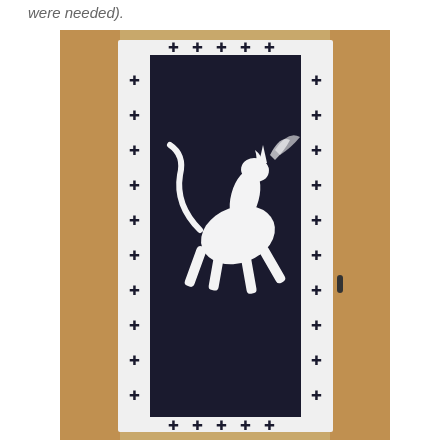were needed).
[Figure (photo): A tall narrow black banner/tapestry with a white border decorated with black cross/fleur-de-lis symbols. The black center panel features a white rearing unicorn design. The banner is hanging between two wooden door frames, with a door visible on the right.]